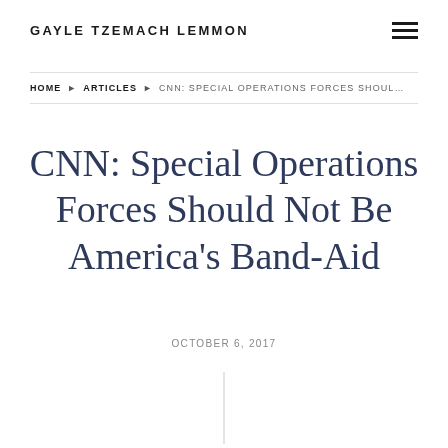GAYLE TZEMACH LEMMON
HOME ▶ ARTICLES ▶ CNN: SPECIAL OPERATIONS FORCES SHOUL...
CNN: Special Operations Forces Should Not Be America's Band-Aid
OCTOBER 6, 2017